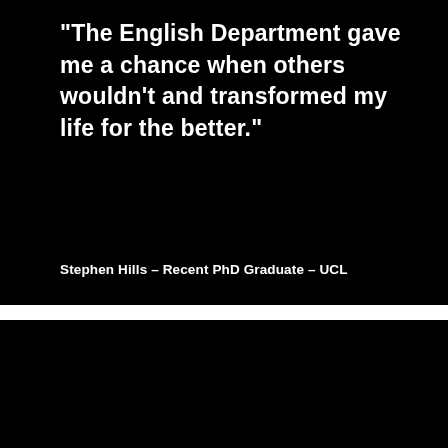“The English Department gave me a chance when others wouldn’t and transformed my life for the better.”
Stephen Hills – Recent PhD Graduate – UCL